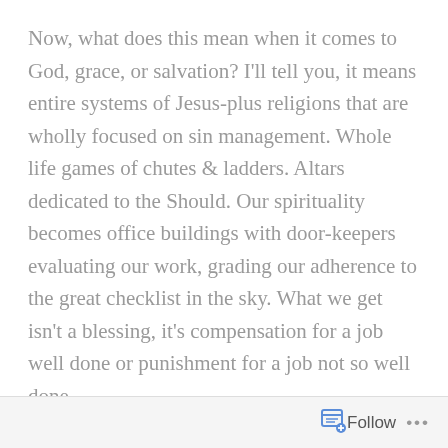Now, what does this mean when it comes to God, grace, or salvation? I'll tell you, it means entire systems of Jesus-plus religions that are wholly focused on sin management. Whole life games of chutes & ladders. Altars dedicated to the Should. Our spirituality becomes office buildings with door-keepers evaluating our work, grading our adherence to the great checklist in the sky. What we get isn't a blessing, it's compensation for a job well done or punishment for a job not so well done.
So, Tuesday, my revolution was to be thankful. (1 day – or small moments inside of 1 day – was more than enough of a beginning. That step was like going from
Follow ···